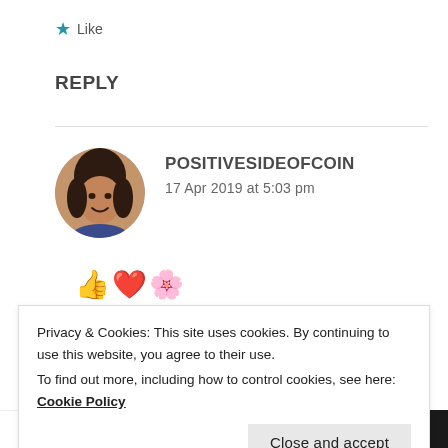★ Like
REPLY
POSITIVESIDEOFCOIN
17 Apr 2019 at 5:03 pm
[Figure (photo): Circular avatar photo of a woman with dark hair, smiling]
👍❤️🌸
★ Like
Privacy & Cookies: This site uses cookies. By continuing to use this website, you agree to their use.
To find out more, including how to control cookies, see here: Cookie Policy
Close and accept
WVip  Learn more →